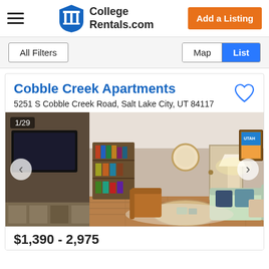CollegeRentals.com
All Filters
Map  List
Cobble Creek Apartments
5251 S Cobble Creek Road, Salt Lake City, UT 84117
[Figure (photo): Interior photo of apartment living room with couch, bookshelf, lamp, and Utah framed poster. Image counter shows 1/29.]
$1,390 - 2,975